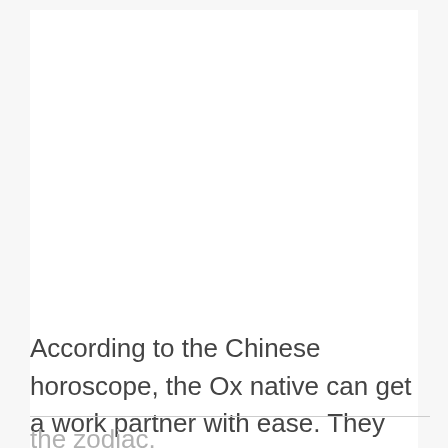According to the Chinese horoscope, the Ox native can get a work partner with ease. They bond effortlessly with most of the other natives from the zodiac.